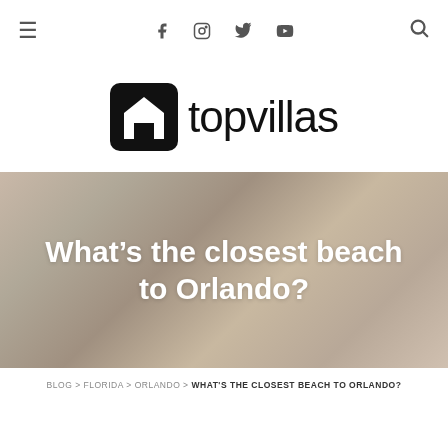≡  f  ig  tw  yt  🔍
[Figure (logo): Top Villas logo: black rounded square with house icon followed by the word topvillas in sans-serif]
What's the closest beach to Orlando?
BLOG > FLORIDA > ORLANDO > WHAT'S THE CLOSEST BEACH TO ORLANDO?